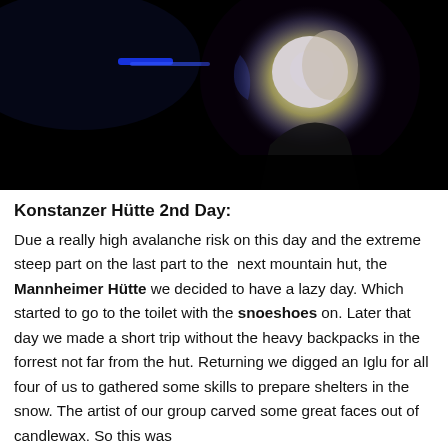[Figure (photo): Dark night photo showing a bright glowing light (possibly a torch or flame) held up against a black sky, with a blue light visible in the background. The bright light illuminates a face or sculptural form.]
Konstanzer Hütte 2nd Day:
Due a really high avalanche risk on this day and the extreme steep part on the last part to the next mountain hut, the Mannheimer Hütte we decided to have a lazy day. Which started to go to the toilet with the snoeshoes on. Later that day we made a short trip without the heavy backpacks in the forrest not far from the hut. Returning we digged an Iglu for all four of us to gathered some skills to prepare shelters in the snow. The artist of our group carved some great faces out of candlewax. So this was